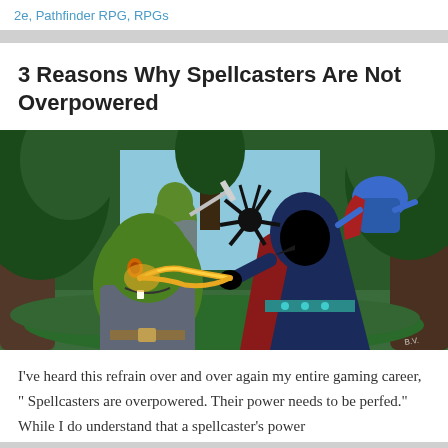2e, Pathfinder RPG, RPGs
3 Reasons Why Spellcasters Are Not Overpowered
[Figure (illustration): Fantasy RPG illustration showing a hooded spellcaster with a bird-like mask casting a golden lightning bolt at green orc-like creatures in a forest setting. A blue creature with red cape is visible in the upper right corner.]
I've heard this refrain over and over again my entire gaming career, " Spellcasters are overpowered. Their power needs to be perfed." While I do understand that a spellcaster's power